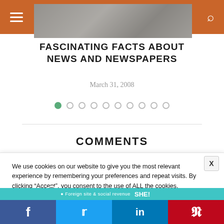Navigation header with hamburger menu and search icon
[Figure (photo): Partial photograph visible behind orange navigation bar]
FASCINATING FACTS ABOUT NEWS AND NEWSPAPERS
March 31, 2008
[Figure (other): Pagination dots row: 10 dots, first dot filled green, rest outlined]
COMMENTS (partially visible, cropped)
We use cookies on our website to give you the most relevant experience by remembering your preferences and repeat visits. By clicking “Accept”, you consent to the use of ALL the cookies.
Do not sell my personal information.
[Figure (other): Social sharing bar with Facebook, Twitter, LinkedIn, and Pinterest icons at bottom of page]
[Figure (other): Teal strip with SHE logo partially visible]